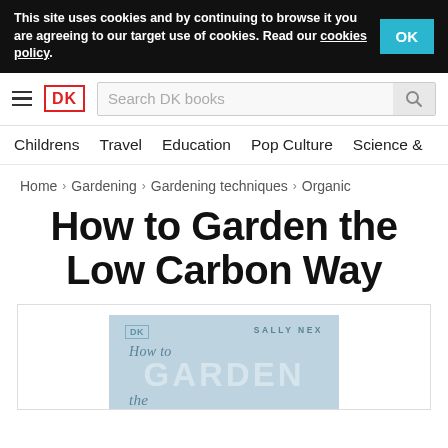This site uses cookies and by continuing to browse it you are agreeing to our target use of cookies. Read our cookies policy.
DK | Search DK books | Childrens | Travel | Education | Pop Culture | Science &
Home > Gardening > Gardening techniques > Organic
How to Garden the Low Carbon Way
[Figure (illustration): Book cover for 'How to Garden the Low Carbon Way' by Sally Nex, DK publishing. Light blue cover showing DK logo, author name SALLY NEX, and title text 'How to GARDEN the']